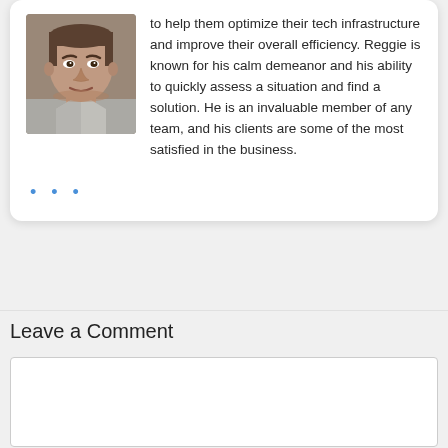[Figure (photo): Headshot photo of a middle-aged man with dark hair, wearing a light-colored shirt, against a neutral background.]
to help them optimize their tech infrastructure and improve their overall efficiency. Reggie is known for his calm demeanor and his ability to quickly assess a situation and find a solution. He is an invaluable member of any team, and his clients are some of the most satisfied in the business.
...
Leave a Comment